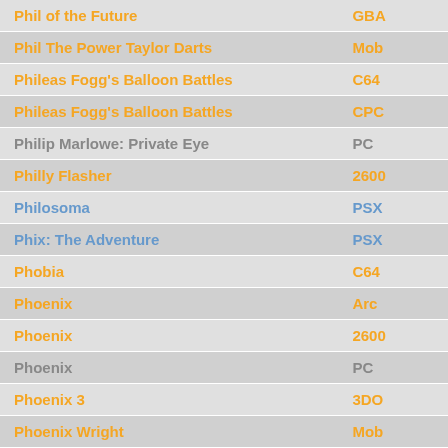| Game | Platform |
| --- | --- |
| Phil of the Future | GBA |
| Phil The Power Taylor Darts | Mob |
| Phileas Fogg's Balloon Battles | C64 |
| Phileas Fogg's Balloon Battles | CPC |
| Philip Marlowe: Private Eye | PC |
| Philly Flasher | 2600 |
| Philosoma | PSX |
| Phix: The Adventure | PSX |
| Phobia | C64 |
| Phoenix | Arc |
| Phoenix | 2600 |
| Phoenix | PC |
| Phoenix 3 | 3DO |
| Phoenix Wright | Mob |
| Phoenix Wright: Ace Attorney | DS |
| Phoenix Wright: Ace Attorney Justice for All | DS |
| Phoenix Wright: Ace Attorney Trials and Tribulations | DS |
| Photo Aquarium | Mob |